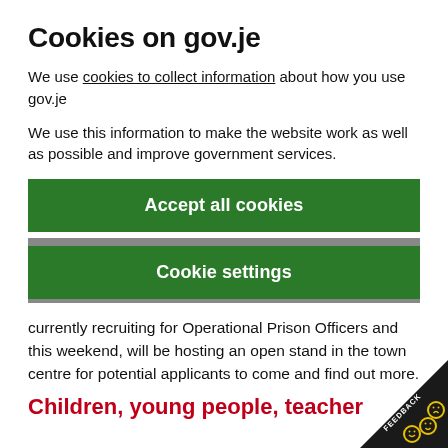Cookies on gov.je
We use cookies to collect information about how you use gov.je
We use this information to make the website work as well as possible and improve government services.
[Figure (other): Green button: Accept all cookies]
[Figure (other): Green button: Cookie settings]
currently recruiting for Operational Prison Officers and this weekend, will be hosting an open stand in the town centre for potential applicants to come and find out more.
Children, young people, teacher